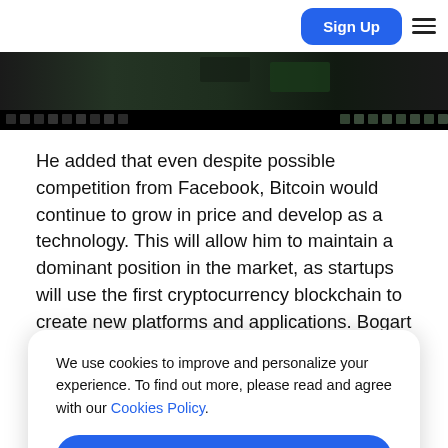Sign Up
[Figure (screenshot): Dark screenshot strip showing a website interface with dark background and small UI elements along the bottom bar]
He added that even despite possible competition from Facebook, Bitcoin would continue to grow in price and develop as a technology. This will allow him to maintain a dominant position in the market, as startups will use the first cryptocurrency blockchain to create new platforms and applications. Bogart
We use cookies to improve and personalize your experience. To find out more, please read and agree with our Cookies Policy. [Allow Cookies button]
known event, and its expectations have partially